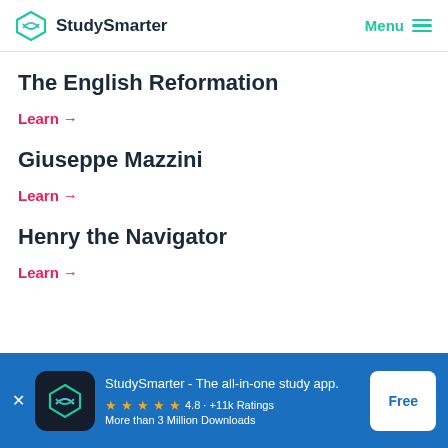StudySmarter | Menu
The English Reformation
Learn →
Giuseppe Mazzini
Learn →
Henry the Navigator
Learn →
StudySmarter - The all-in-one study app. ★★★★★ 4.8 · +11k Ratings More than 3 Million Downloads Free